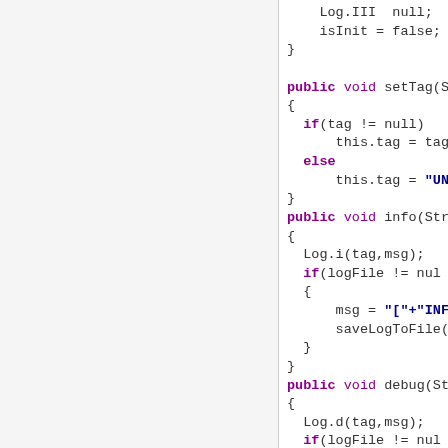[Figure (screenshot): Source code snippet showing Java methods: setTag, info, and debug with if/else blocks and Log calls. Left half is a blank/light gray panel; right half shows code with purple keywords and blue string literals.]